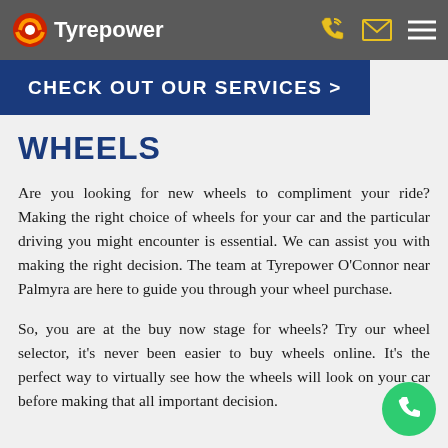Tyrepower
[Figure (screenshot): Dark blue banner with text CHECK OUT OUR SERVICES >]
WHEELS
Are you looking for new wheels to compliment your ride? Making the right choice of wheels for your car and the particular driving you might encounter is essential. We can assist you with making the right decision. The team at Tyrepower O'Connor near Palmyra are here to guide you through your wheel purchase.
So, you are at the buy now stage for wheels? Try our wheel selector, it's never been easier to buy wheels online. It's the perfect way to virtually see how the wheels will look on your car before making that all important decision.